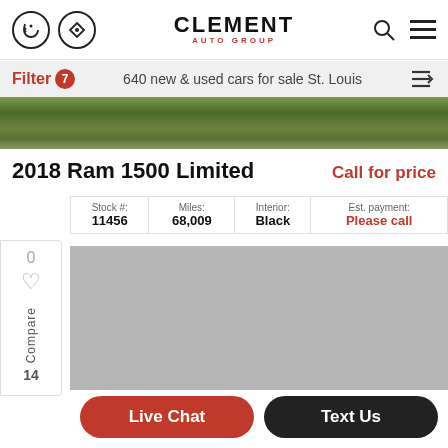Clement Auto Group
Filter 7 — 640 new & used cars for sale St. Louis
[Figure (photo): Grass/field background photo strip]
2018 Ram 1500 Limited
Call for price
| Stock #: | Miles: | Interior: | Est. payment: |
| --- | --- | --- | --- |
| 11456 | 68,009 | Black | Please call |
0  Compare 14
[Figure (photo): Gray placeholder area for car image]
Live Chat
Text Us